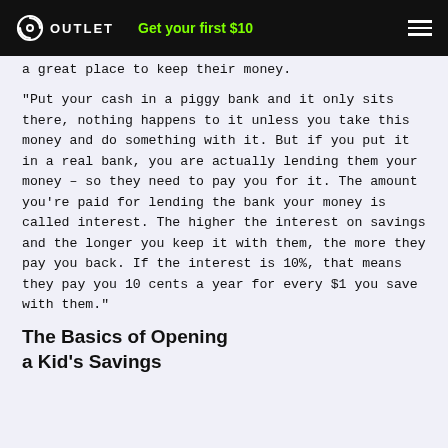OUTLET  Get your first $10
a great place to keep their money.
"Put your cash in a piggy bank and it only sits there, nothing happens to it unless you take this money and do something with it. But if you put it in a real bank, you are actually lending them your money – so they need to pay you for it. The amount you're paid for lending the bank your money is called interest. The higher the interest on savings and the longer you keep it with them, the more they pay you back. If the interest is 10%, that means they pay you 10 cents a year for every $1 you save with them."
The Basics of Opening a Kid's Savings